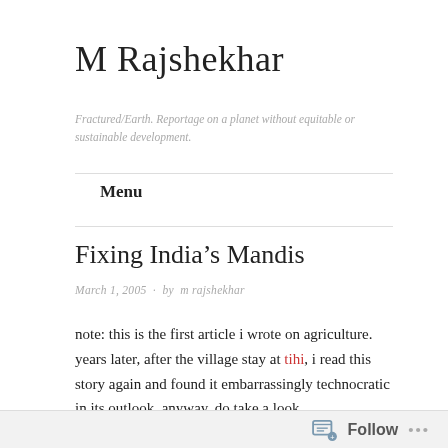M Rajshekhar
Fractured/Earth. Reportage on a planet without equitable or sustainable development.
Menu
Fixing India’s Mandis
March 1, 2005 · by m rajshekhar
note: this is the first article i wrote on agriculture. years later, after the village stay at tihi, i read this story again and found it embarrassingly technocratic in its outlook. anyway, do take a look.
Follow